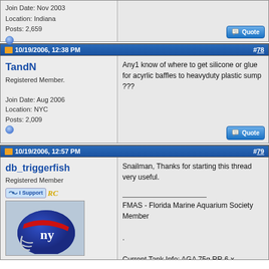Join Date: Nov 2003
Location: Indiana
Posts: 2,659
10/19/2006, 12:38 PM  #78
TandN
Registered Member.
Join Date: Aug 2006
Location: NYC
Posts: 2,009
Any1 know of where to get silicone or glue for acyrlic baffles to heavyduty plastic sump ???
10/19/2006, 12:57 PM  #79
db_triggerfish
Registered Member
Snailman, Thanks for starting this thread very useful.

FMAS - Florida Marine Aquarium Society Member
.
Current Tank Info: AGA 75g RR 6 x